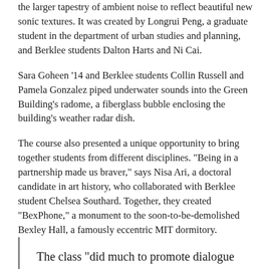the larger tapestry of ambient noise to reflect beautiful new sonic textures. It was created by Longrui Peng, a graduate student in the department of urban studies and planning, and Berklee students Dalton Harts and Ni Cai.
Sara Goheen ’14 and Berklee students Collin Russell and Pamela Gonzalez piped underwater sounds into the Green Building’s radome, a fiberglass bubble enclosing the building's weather radar dish.
The course also presented a unique opportunity to bring together students from different disciplines. “Being in a partnership made us braver,” says Nisa Ari, a doctoral candidate in art history, who collaborated with Berklee student Chelsea Southard. Together, they created “BexPhone,” a monument to the soon-to-be-demolished Bexley Hall, a famously eccentric MIT dormitory.
The class “did much to promote dialogue about sound and society within our